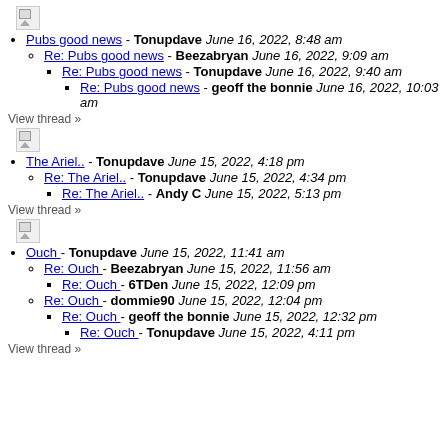[Figure (other): Broken/placeholder image icon]
Pubs good news - Tonupdave June 16, 2022, 8:48 am
Re: Pubs good news - Beezabryan June 16, 2022, 9:09 am
Re: Pubs good news - Tonupdave June 16, 2022, 9:40 am
Re: Pubs good news - geoff the bonnie June 16, 2022, 10:03 am
View thread »
[Figure (other): Broken/placeholder image icon]
The Ariel.. - Tonupdave June 15, 2022, 4:18 pm
Re: The Ariel.. - Tonupdave June 15, 2022, 4:34 pm
Re: The Ariel.. - Andy C June 15, 2022, 5:13 pm
View thread »
[Figure (other): Broken/placeholder image icon]
Ouch - Tonupdave June 15, 2022, 11:41 am
Re: Ouch - Beezabryan June 15, 2022, 11:56 am
Re: Ouch - 6TDen June 15, 2022, 12:09 pm
Re: Ouch - dommie90 June 15, 2022, 12:04 pm
Re: Ouch - geoff the bonnie June 15, 2022, 12:32 pm
Re: Ouch - Tonupdave June 15, 2022, 4:11 pm
View thread »